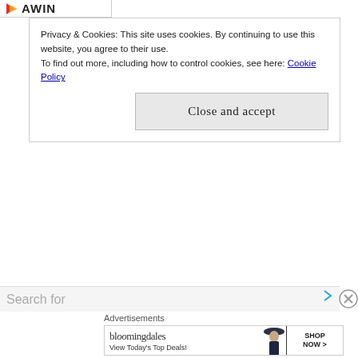[Figure (logo): AWIN logo with red/orange arrow pointing right, text 'AWIN' in bold]
Privacy & Cookies: This site uses cookies. By continuing to use this website, you agree to their use. To find out more, including how to control cookies, see here: Cookie Policy
Close and accept
Search for
Advertisements
[Figure (screenshot): Bloomingdales advertisement banner: 'bloomingdales View Today's Top Deals!' with woman in hat and 'SHOP NOW >' button]